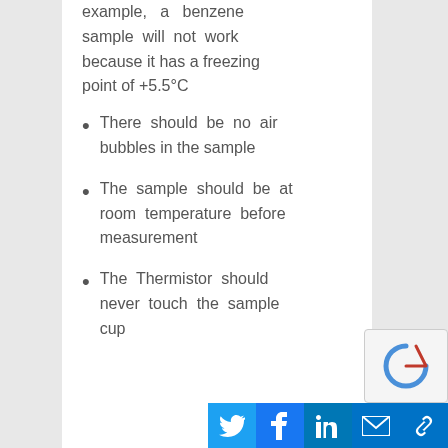example, a benzene sample will not work because it has a freezing point of +5.5°C
There should be no air bubbles in the sample
The sample should be at room temperature before measurement
The Thermistor should never touch the sample cup